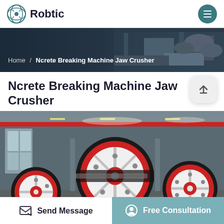Robtic
[Figure (screenshot): Hero banner with dark background and industrial machinery photograph, showing breadcrumb navigation: Home / Ncrete Breaking Machine Jaw Crusher]
Ncrete Breaking Machine Jaw Crusher
[Figure (photo): Industrial jaw crusher machine with large red and white flywheels/pulleys inside a factory/warehouse setting with red overhead crane]
Send Message
Free Consultation